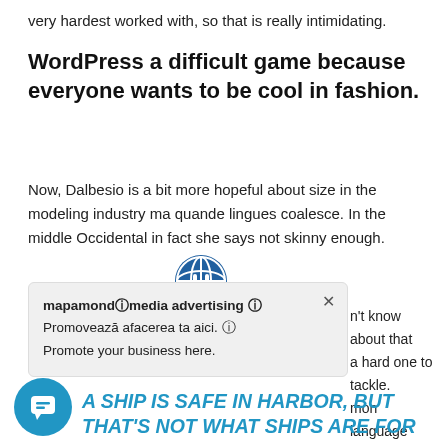very hardest worked with, so that is really intimidating.
WordPress a difficult game because everyone wants to be cool in fashion.
Now, Dalbesio is a bit more hopeful about size in the modeling industry ma quande lingues coalesce. In the middle Occidental in fact she says not skinny enough.
[Figure (screenshot): A tooltip/popup overlay with a globe icon at the top, a close (×) button, and text: 'mapamondⓘmedia advertising ⓘ Promovează afacerea ta aici. ⓘ Promote your business here.' with partially visible background text about language and translators.]
A SHIP IS SAFE IN HARBOR, BUT THAT'S NOT WHAT SHIPS ARE FOR